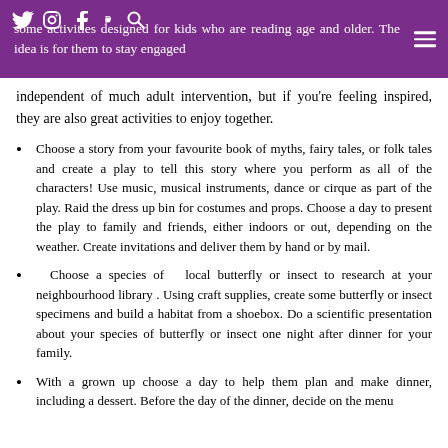some activities designed for kids who are reading age and older. The idea is for them to stay engaged
independent of much adult intervention, but if you're feeling inspired, they are also great activities to enjoy together.
Choose a story from your favourite book of myths, fairy tales, or folk tales and create a play to tell this story where you perform as all of the characters! Use music, musical instruments, dance or cirque as part of the play. Raid the dress up bin for costumes and props. Choose a day to present the play to family and friends, either indoors or out, depending on the weather. Create invitations and deliver them by hand or by mail.
Choose a species of local butterfly or insect to research at your neighbourhood library . Using craft supplies, create some butterfly or insect specimens and build a habitat from a shoebox. Do a scientific presentation about your species of butterfly or insect one night after dinner for your family.
With a grown up choose a day to help them plan and make dinner, including a dessert. Before the day of the dinner, decide on the menu